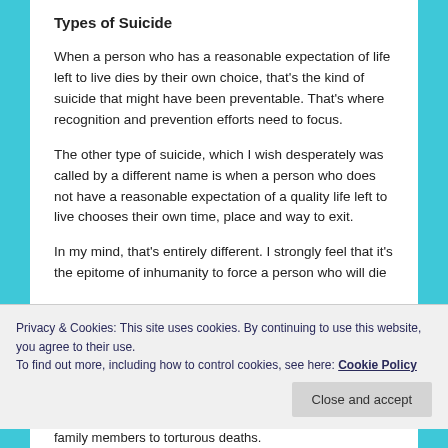Types of Suicide
When a person who has a reasonable expectation of life left to live dies by their own choice, that's the kind of suicide that might have been preventable. That's where recognition and prevention efforts need to focus.
The other type of suicide, which I wish desperately was called by a different name is when a person who does not have a reasonable expectation of a quality life left to live chooses their own time, place and way to exit.
In my mind, that's entirely different. I strongly feel that it's the epitome of inhumanity to force a person who will die
Privacy & Cookies: This site uses cookies. By continuing to use this website, you agree to their use.
To find out more, including how to control cookies, see here: Cookie Policy
family members to torturous deaths.